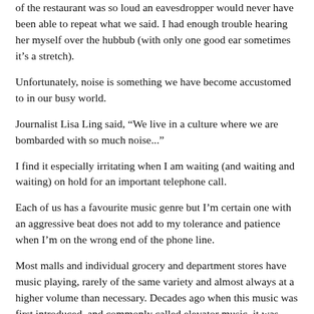of the restaurant was so loud an eavesdropper would never have been able to repeat what we said. I had enough trouble hearing her myself over the hubbub (with only one good ear sometimes it's a stretch).
Unfortunately, noise is something we have become accustomed to in our busy world.
Journalist Lisa Ling said, “We live in a culture where we are bombarded with so much noise...”
I find it especially irritating when I am waiting (and waiting and waiting) on hold for an important telephone call.
Each of us has a favourite music genre but I’m certain one with an aggressive beat does not add to my tolerance and patience when I’m on the wrong end of the phone line.
Most malls and individual grocery and department stores have music playing, rarely of the same variety and almost always at a higher volume than necessary. Decades ago when this music was first introduced, and commonly called elevator music, it was designed to be a bland, soothing background. Psychologically it